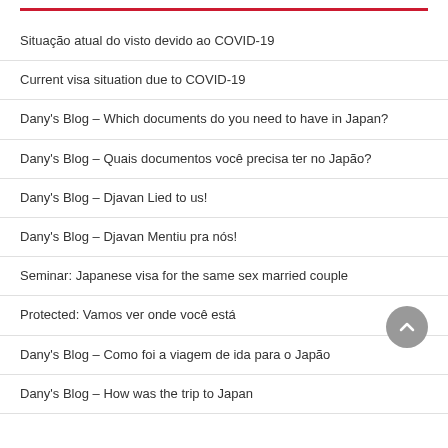Situação atual do visto devido ao COVID-19
Current visa situation due to COVID-19
Dany's Blog – Which documents do you need to have in Japan?
Dany's Blog – Quais documentos você precisa ter no Japão?
Dany's Blog – Djavan Lied to us!
Dany's Blog – Djavan Mentiu pra nós!
Seminar: Japanese visa for the same sex married couple
Protected: Vamos ver onde você está
Dany's Blog – Como foi a viagem de ida para o Japão
Dany's Blog – How was the trip to Japan